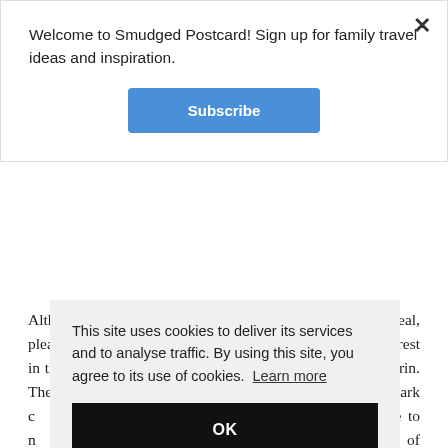Welcome to Smudged Postcard! Sign up for family travel ideas and inspiration.
Subscribe
Although the idea of staying in a big city might not appeal, please hear me out on this one. Anyone with a passing interest in the motorcar or the Italian Job should definitely visit Turin. There's a good underground car park ... ve to ... ad of ... t my ... a ... S ... t you need a break from the motorway – or of course you're
This site uses cookies to deliver its services and to analyse traffic. By using this site, you agree to its use of cookies. Learn more
OK